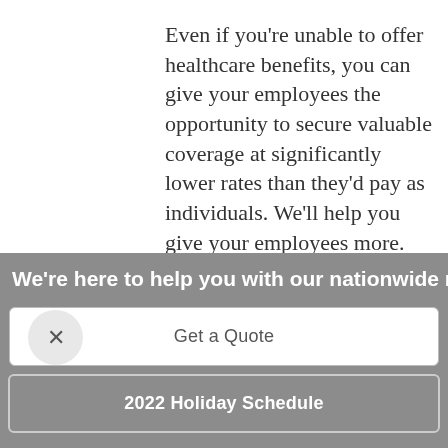Even if you're unable to offer healthcare benefits, you can give your employees the opportunity to secure valuable coverage at significantly lower rates than they'd pay as individuals. We'll help you give your employees more.
[Figure (other): Dark navy blue button labeled 'Get a Quote']
[Figure (other): Circular close/dismiss button with an X symbol]
We're here to help you with our nationwide reach and p...
[Figure (other): White rounded rectangle button labeled 'Get a Quote' on gray background]
[Figure (other): Outline rounded rectangle button labeled '2022 Holiday Schedule' on gray background]